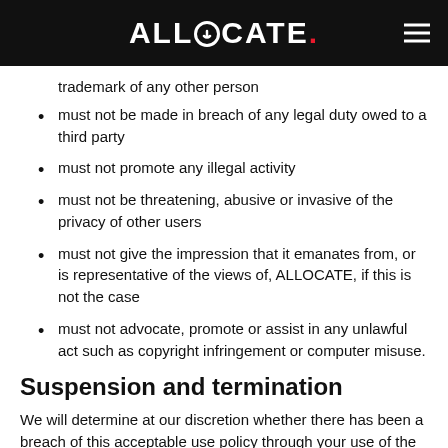ALLOCATE.
trademark of any other person
must not be made in breach of any legal duty owed to a third party
must not promote any illegal activity
must not be threatening, abusive or invasive of the privacy of other users
must not give the impression that it emanates from, or is representative of the views of, ALLOCATE, if this is not the case
must not advocate, promote or assist in any unlawful act such as copyright infringement or computer misuse.
Suspension and termination
We will determine at our discretion whether there has been a breach of this acceptable use policy through your use of the website. When a breach of this policy has occurred, we